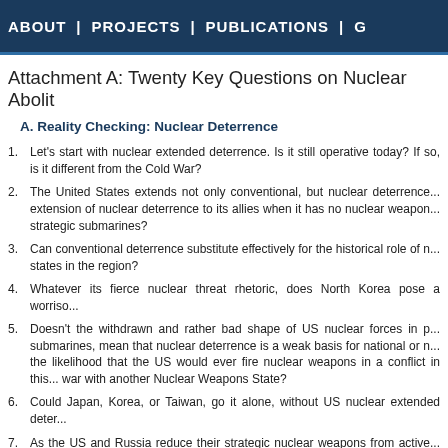ABOUT | PROJECTS | PUBLICATIONS | G
Attachment A: Twenty Key Questions on Nuclear Abolit
A. Reality Checking: Nuclear Deterrence
Let’s start with nuclear extended deterrence. Is it still operative today? If so, is it different from the Cold War?
The United States extends not only conventional, but nuclear deterrence... extension of nuclear deterrence to its allies when it has no nuclear weapon... strategic submarines?
Can conventional deterrence substitute effectively for the historical role of n... states in the region?
Whatever its fierce nuclear threat rhetoric, does North Korea pose a worriso...
Doesn’t the withdrawn and rather bad shape of US nuclear forces in p... submarines, mean that nuclear deterrence is a weak basis for national or n... the likelihood that the US would ever fire nuclear weapons in a conflict in this... war with another Nuclear Weapons State?
Could Japan, Korea, or Taiwan, go it alone, without US nuclear extended deter...
As the US and Russia reduce their strategic nuclear weapons from active... China become party to global strategic nuclear weapons reduction talks? C. Ja